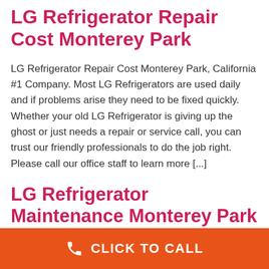LG Refrigerator Repair Cost Monterey Park
LG Refrigerator Repair Cost Monterey Park, California #1 Company. Most LG Refrigerators are used daily and if problems arise they need to be fixed quickly. Whether your old LG Refrigerator is giving up the ghost or just needs a repair or service call, you can trust our friendly professionals to do the job right. Please call our office staff to learn more [...]
LG Refrigerator Maintenance Monterey Park
CLICK TO CALL